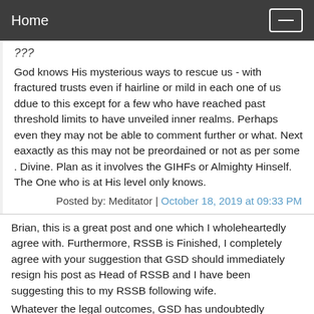Home
???
God knows His mysterious ways to rescue us - with fractured trusts even if hairline or mild in each one of us ddue to this except for a few who have reached past threshold limits to have unveiled inner realms. Perhaps even they may not be able to comment further or what. Next eaxactly as this may not be preordained or not as per some . Divine. Plan as it involves the GIHFs or Almighty Hinself. The One who is at His level only knows.
Posted by: Meditator | October 18, 2019 at 09:33 PM
Brian, this is a great post and one which I wholeheartedly agree with. Furthermore, RSSB is Finished, I completely agree with your suggestion that GSD should immediately resign his post as Head of RSSB and I have been suggesting this to my RSSB following wife.
Whatever the legal outcomes, GSD has undoubtedly